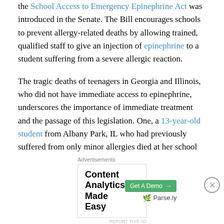the School Access to Emergency Epinephrine Act was introduced in the Senate. The Bill encourages schools to prevent allergy-related deaths by allowing trained, qualified staff to give an injection of epinephrine to a student suffering from a severe allergic reaction.
The tragic deaths of teenagers in Georgia and Illinois, who did not have immediate access to epinephrine, underscores the importance of immediate treatment and the passage of this legislation. One, a 13-year-old student from Albany Park, IL who had previously suffered from only minor allergies died at her school because of a severe allergic reaction.
Following this Illinois example, the legislature also...
[Figure (screenshot): Advertisement banner: 'Content Analytics Made Easy' with a green 'Get A Demo →' button and Parse.ly logo]